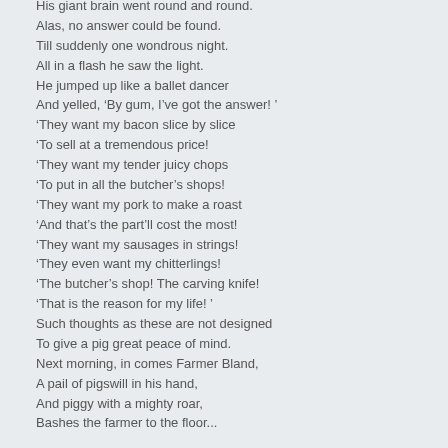His giant brain went round and round.
Alas, no answer could be found.
Till suddenly one wondrous night.
All in a flash he saw the light.
He jumped up like a ballet dancer
And yelled, ‘By gum, I’ve got the answer! ’
‘They want my bacon slice by slice
‘To sell at a tremendous price!
‘They want my tender juicy chops
‘To put in all the butcher’s shops!
‘They want my pork to make a roast
‘And that’s the part’ll cost the most!
‘They want my sausages in strings!
‘They even want my chitterlings!
‘The butcher’s shop! The carving knife!
‘That is the reason for my life! ’
Such thoughts as these are not designed
To give a pig great peace of mind.
Next morning, in comes Farmer Bland,
A pail of pigswill in his hand,
And piggy with a mighty roar,
Bashes the farmer to the floor...